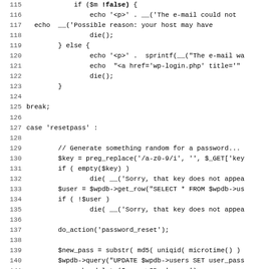[Figure (screenshot): Code listing showing PHP source code lines 115-147, including error handling for email sending, a break statement, and a 'resetpass' case block with password reset logic using WordPress functions.]